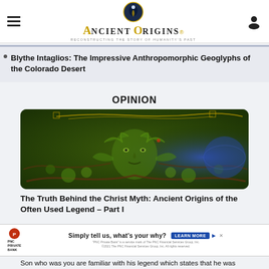Ancient Origins — Reconstructing the Story of Humanity's Past
Blythe Intaglios: The Impressive Anthropomorphic Geoglyphs of the Colorado Desert
OPINION
[Figure (illustration): Green man / nature deity face illustration with foliage and branches on dark green background]
The Truth Behind the Christ Myth: Ancient Origins of the Often Used Legend – Part I
[Figure (other): PNC Private Bank advertisement banner: Simply tell us, what's your why? LEARN MORE]
Son who was you are familiar with his legend which states that he was born in a manger surrounded by shepherds